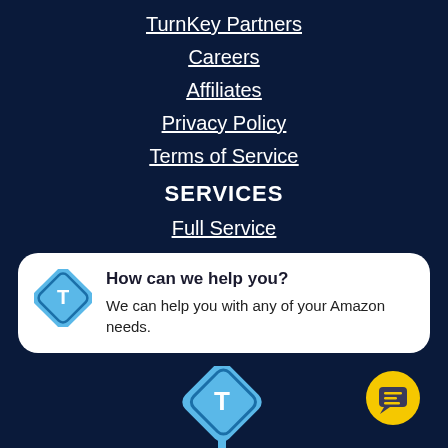TurnKey Partners
Careers
Affiliates
Privacy Policy
Terms of Service
SERVICES
Full Service
How can we help you? We can help you with any of your Amazon needs.
[Figure (logo): TurnKey logo: diamond shape with letter T inside, on a stick/pin shape, light blue color, at bottom center]
[Figure (illustration): Yellow circle chat button with message lines icon at bottom right]